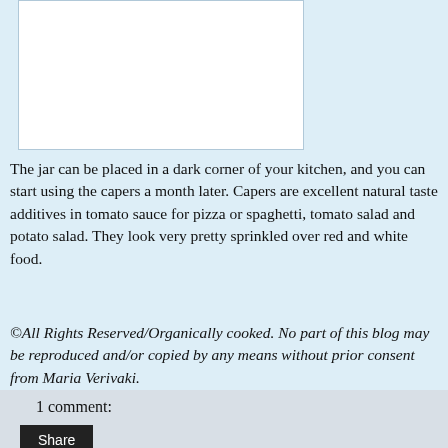[Figure (photo): White rectangular area representing a food/blog image placeholder]
The jar can be placed in a dark corner of your kitchen, and you can start using the capers a month later. Capers are excellent natural taste additives in tomato sauce for pizza or spaghetti, tomato salad and potato salad. They look very pretty sprinkled over red and white food.
©All Rights Reserved/Organically cooked. No part of this blog may be reproduced and/or copied by any means without prior consent from Maria Verivaki.
1 comment:
Share